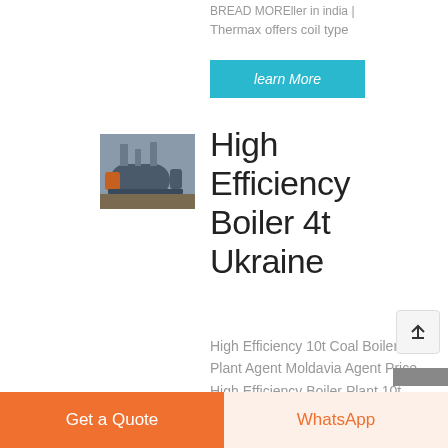Thermax offers coil type
learn More
[Figure (photo): Industrial boiler equipment photo showing a horizontal fire-tube or water-tube boiler setup outdoors]
High Efficiency Boiler 4t Ukraine
High Efficiency 10t Coal Boiler Plant Agent Moldavia Agent Price High Efficiency Boiler Plant 10t. Agent 2t Coal Boiler Plant High
Get a Quote
WhatsApp